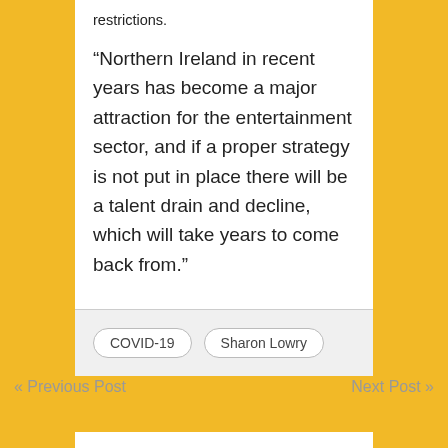restrictions.
“Northern Ireland in recent years has become a major attraction for the entertainment sector, and if a proper strategy is not put in place there will be a talent drain and decline, which will take years to come back from.”
COVID-19   Sharon Lowry
« Previous Post
Next Post »
Search
Search…